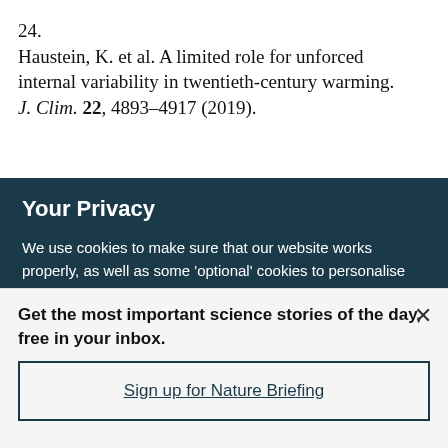24. Haustein, K. et al. A limited role for unforced internal variability in twentieth-century warming. J. Clim. 22, 4893–4917 (2019).
Your Privacy
We use cookies to make sure that our website works properly, as well as some 'optional' cookies to personalise content and advertising, provide social media features and analyse how people use our site. By accepting some or all optional cookies you give consent to the processing of your personal data, including transfer to third parties, some in countries outside of the European Economic Area that do not offer the same data protection standards as the country where you live. You can decide which optional cookies to accept by clicking on 'Manage Settings', where you can
Get the most important science stories of the day, free in your inbox.
Sign up for Nature Briefing